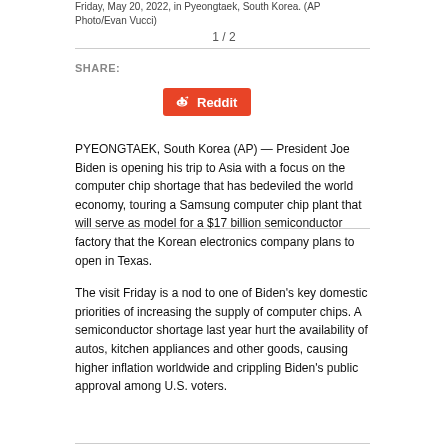Friday, May 20, 2022, in Pyeongtaek, South Korea. (AP Photo/Evan Vucci)
1 / 2
SHARE:
[Figure (other): Reddit share button (orange background with Reddit alien logo and text 'Reddit')]
PYEONGTAEK, South Korea (AP) — President Joe Biden is opening his trip to Asia with a focus on the computer chip shortage that has bedeviled the world economy, touring a Samsung computer chip plant that will serve as model for a $17 billion semiconductor factory that the Korean electronics company plans to open in Texas.
The visit Friday is a nod to one of Biden's key domestic priorities of increasing the supply of computer chips. A semiconductor shortage last year hurt the availability of autos, kitchen appliances and other goods, causing higher inflation worldwide and crippling Biden's public approval among U.S. voters.